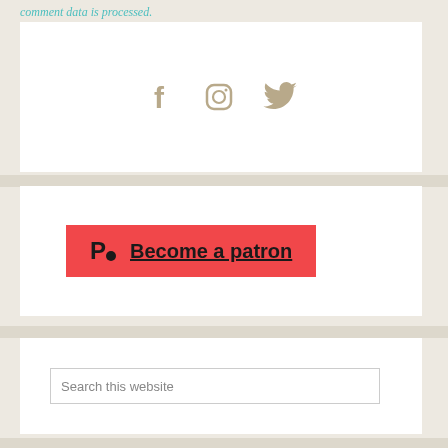comment data is processed.
[Figure (other): Social media icons: Facebook (f), Instagram (circle with camera), Twitter (bird), displayed in tan/gold color on white background]
[Figure (other): Patreon 'Become a patron' button in red/coral background with Patreon logo icon (P with dot) and underlined text 'Become a patron']
Search this website